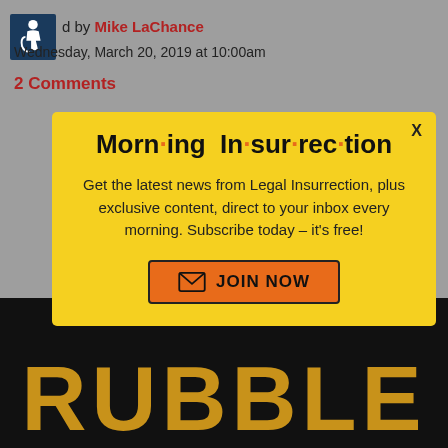[Figure (logo): Blue accessibility icon (wheelchair symbol) in a dark blue square]
d by Mike LaChance
Wednesday, March 20, 2019 at 10:00am
2 Comments
[Figure (infographic): Morning Insurrection newsletter popup modal with yellow background. Title: 'Morn·ing In·sur·rec·tion'. Body: 'Get the latest news from Legal Insurrection, plus exclusive content, direct to your inbox every morning. Subscribe today – it's free!' Button: 'JOIN NOW']
[Figure (photo): Book cover showing the word RUBBLE in large gold letters on black background]